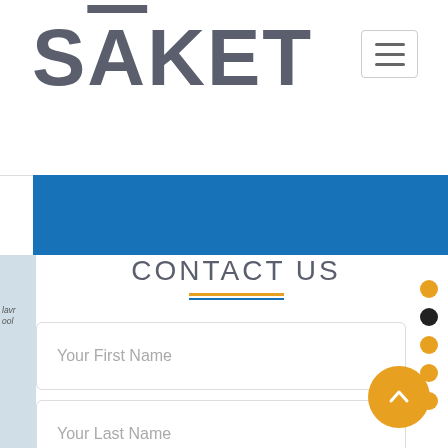SĀKET
[Figure (screenshot): Blue banner strip across the top of the contact section]
CONTACT US
Your First Name
Your Last Name
Your Email